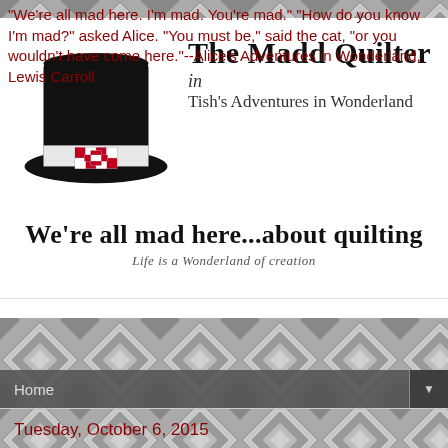[Figure (illustration): Blog header banner with a black top hat (Mad Hatter style) with a red and white quilt square as hatband decoration. To the right, the blog title 'The Madd Quilter in Tish's Adventures in Wonderland' in serif font. Below spanning full width: 'We're all mad here...about quilting' in large bold serif, with subtitle 'Life is a Wonderland of creation'.]
"We're all mad here. I'm mad. You're mad." "How do you know I'm mad?" asked Alice. "You must be," said the cat, "or you wouldn't have come here."--Alice's Adventures in Wonderland, Lewis Carroll
Home
Tuesday, October 6, 2015